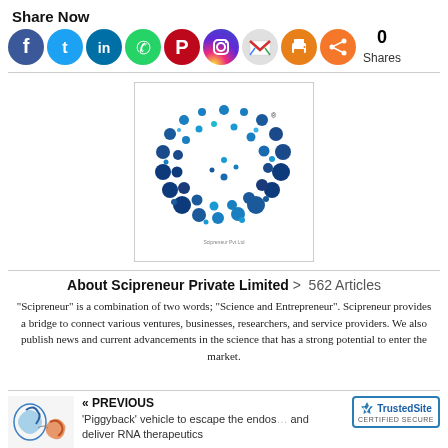Share Now
[Figure (infographic): Row of social media share icons: Facebook (blue), Twitter (blue), LinkedIn (blue-teal), WhatsApp (green), Pinterest (red), Instagram (gradient pink/purple), Gmail (red/white M), Print (orange), Share (orange), followed by '0 Shares' count]
[Figure (logo): Scipreneur Private Limited logo: circular arrangement of blue dots of various sizes forming a ring/spiral pattern on white background]
About Scipreneur Private Limited  >  562 Articles
"Scipreneur" is a combination of two words; "Science and Entrepreneur". Scipreneur provides a bridge to connect various ventures, businesses, researchers, and service providers. We also publish news and current advancements in the science that has a strong potential to enter the market.
« PREVIOUS
'Piggyback' vehicle to escape the endosome and deliver RNA therapeutics
[Figure (illustration): Small scientific illustration showing protein/antibody structures in blue and orange/red colors]
[Figure (other): TrustedSite CERTIFIED SECURE badge with blue checkmark icon]